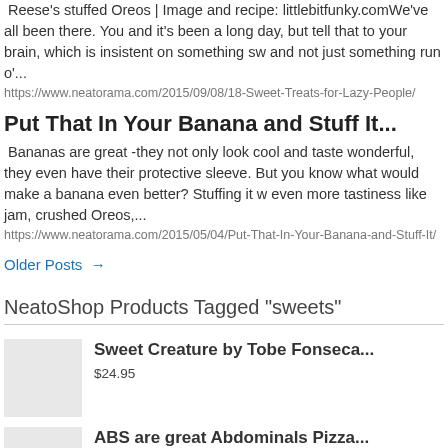Reese's stuffed Oreos | Image and recipe: littlebitfunky.comWe've all been there. You and it's been a long day, but tell that to your brain, which is insistent on something sw and not just something run o'...
https://www.neatorama.com/2015/09/08/18-Sweet-Treats-for-Lazy-People/
Put That In Your Banana and Stuff It...
Bananas are great -they not only look cool and taste wonderful, they even have their protective sleeve. But you know what would make a banana even better? Stuffing it w even more tastiness like jam, crushed Oreos,...
https://www.neatorama.com/2015/05/04/Put-That-In-Your-Banana-and-Stuff-It/
Older Posts →
NeatoShop Products Tagged "sweets"
Sweet Creature by Tobe Fonseca... $24.95
ABS are great Abdominals Pizza...